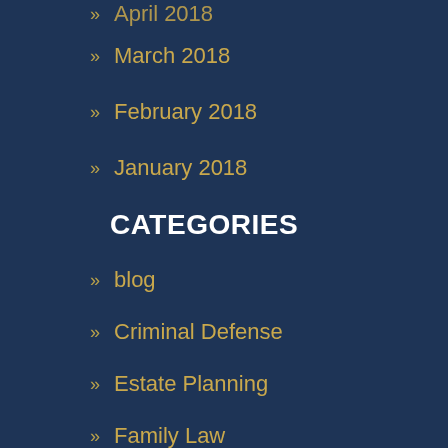April 2018
March 2018
February 2018
January 2018
CATEGORIES
blog
Criminal Defense
Estate Planning
Family Law
Firm News
Personal Injury